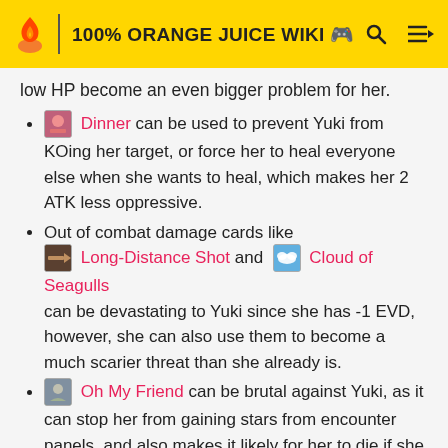100% ORANGE JUICE WIKI
low HP become an even bigger problem for her.
Dinner can be used to prevent Yuki from KOing her target, or force her to heal everyone else when she wants to heal, which makes her 2 ATK less oppressive.
Out of combat damage cards like Long-Distance Shot and Cloud of Seagulls can be devastating to Yuki since she has -1 EVD, however, she can also use them to become a much scarier threat than she already is.
Oh My Friend can be brutal against Yuki, as it can stop her from gaining stars from encounter panels, and also makes it likely for her to die if she steps on a boss panel. It can also easily put a stop to her if she decided to go for nine normes.